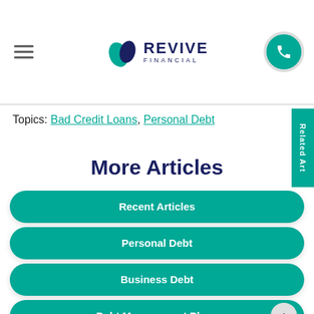Revive Financial
Topics: Bad Credit Loans, Personal Debt
More Articles
Recent Articles
Personal Debt
Business Debt
Debt Management Plans